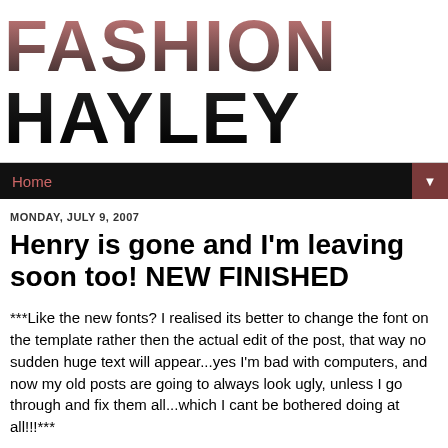FASHION HAYLEY
Home
MONDAY, JULY 9, 2007
Henry is gone and I'm leaving soon too! NEW FINISHED
***Like the new fonts? I realised its better to change the font on the template rather then the actual edit of the post, that way no sudden huge text will appear...yes I'm bad with computers, and now my old posts are going to always look ugly, unless I go through and fix them all...which I cant be bothered doing at all!!!***